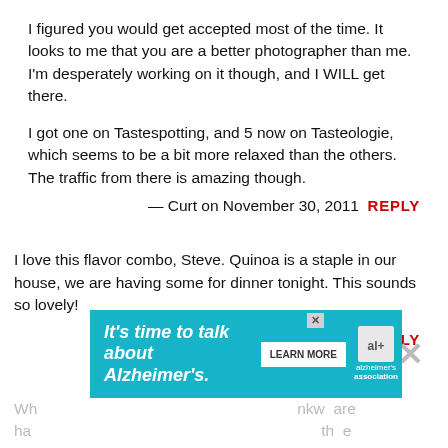I figured you would get accepted most of the time. It looks to me that you are a better photographer than me. I'm desperately working on it though, and I WILL get there.

I got one on Tastespotting, and 5 now on Tasteologie, which seems to be a bit more relaxed than the others. The traffic from there is amazing though.
— Curt on November 30, 2011   REPLY
I love this flavor combo, Steve. Quinoa is a staple in our house, we are having some for dinner tonight. This sounds so lovely!
— Cassie on November 30, 2011   REPLY
[Figure (other): Advertisement banner for Alzheimer's Association: 'It's time to talk about Alzheimer's.' with a Learn More button and Alzheimer's Association logo. Partially overlapped by a close/X button.]